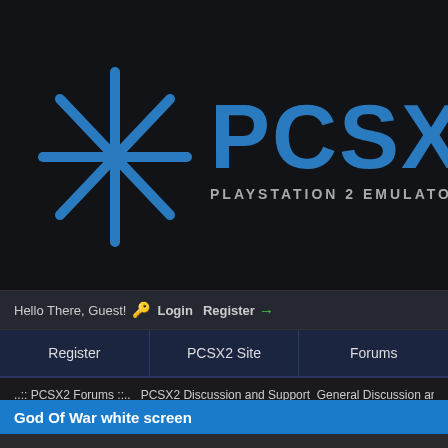[Figure (logo): PCSX2 logo with star/asterisk icon on dark background and text 'PCSX2 PLAYSTATION 2 EMULATOR']
Hello There, Guest! 🔑 Login  Register →
Register  |  PCSX2 Site  |  Forums
..:: PCSX2 Forums ::..  PCSX2 Discussion and Support  General Discussion and
God Of War white screen
God Of War white screen